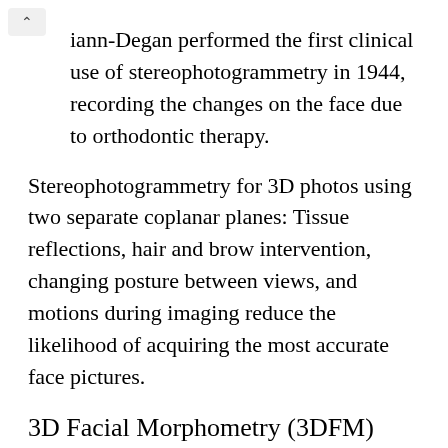iann-Degan performed the first clinical use of stereophotogrammetry in 1944, recording the changes on the face due to orthodontic therapy.
Stereophotogrammetry for 3D photos using two separate coplanar planes: Tissue reflections, hair and brow intervention, changing posture between views, and motions during imaging reduce the likelihood of acquiring the most accurate face pictures.
3D Facial Morphometry (3DFM)
The system comprises two infrared cameras, hardware for marker detection, and software for 3D reconstruction of landmark coordinates.
The placement of landmarks on the face is time-consuming and labor-intensive.